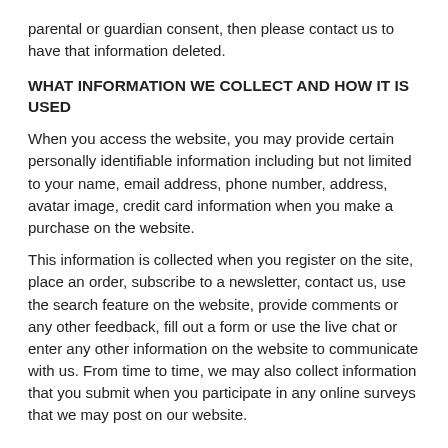parental or guardian consent, then please contact us to have that information deleted.
WHAT INFORMATION WE COLLECT AND HOW IT IS USED
When you access the website, you may provide certain personally identifiable information including but not limited to your name, email address, phone number, address, avatar image, credit card information when you make a purchase on the website.
This information is collected when you register on the site, place an order, subscribe to a newsletter, contact us, use the search feature on the website, provide comments or any other feedback, fill out a form or use the live chat or enter any other information on the website to communicate with us. From time to time, we may also collect information that you submit when you participate in any online surveys that we may post on our website.